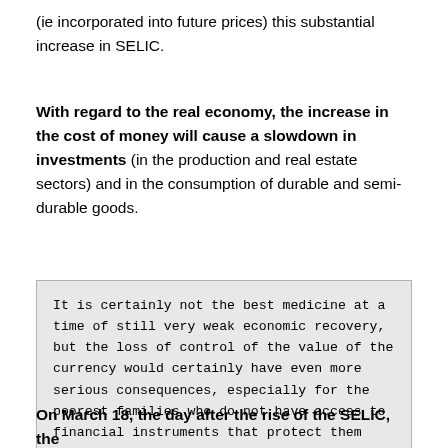(ie incorporated into future prices) this substantial increase in SELIC.
With regard to the real economy, the increase in the cost of money will cause a slowdown in investments (in the production and real estate sectors) and in the consumption of durable and semi-durable goods.
It is certainly not the best medicine at a time of still very weak economic recovery, but the loss of control of the value of the currency would certainly have even more serious consequences, especially for the poorest families who do not have access to financial instruments that protect them from inflation.
On March 18, the day after the rise of the SELIC, the